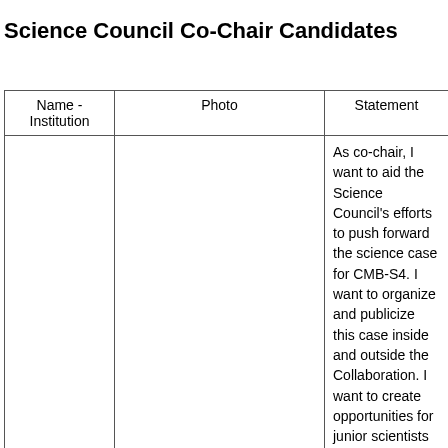Science Council Co-Chair Candidates
| Name - Institution | Photo | Statement |
| --- | --- | --- |
|  |  | As co-chair, I want to aid the Science Council's efforts to push forward the science case for CMB-S4. I want to organize and publicize this case inside and outside the Collaboration. I want to create opportunities for junior scientists and develop the pool of expertise in our |